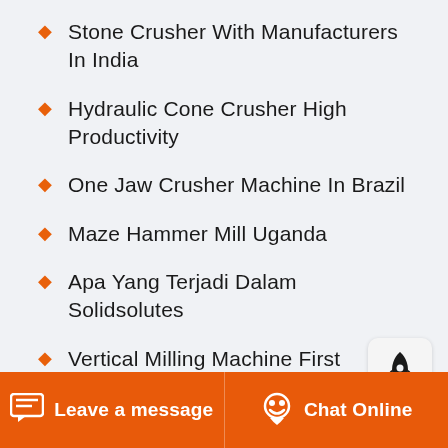Stone Crusher With Manufacturers In India
Hydraulic Cone Crusher High Productivity
One Jaw Crusher Machine In Brazil
Maze Hammer Mill Uganda
Apa Yang Terjadi Dalam Solidsolutes
Vertical Milling Machine First
Buy Small Ball Mills Grinding Mills
Concrete Crusher For Rent In Atlanta
Stone Crushing Plant High Efficiency
Leave a message  Chat Online